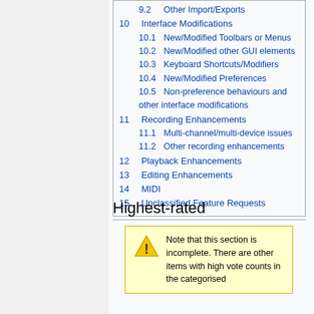9.2  Other Import/Exports
10  Interface Modifications
10.1  New/Modified Toolbars or Menus
10.2  New/Modified other GUI elements
10.3  Keyboard Shortcuts/Modifiers
10.4  New/Modified Preferences
10.5  Non-preference behaviours and other interface modifications
11  Recording Enhancements
11.1  Multi-channel/multi-device issues
11.2  Other recording enhancements
12  Playback Enhancements
13  Editing Enhancements
14  MIDI
15  Unclassified Feature Requests
Highest-rated
Note that this section is incomplete. There are other items with high vote counts in the categorised